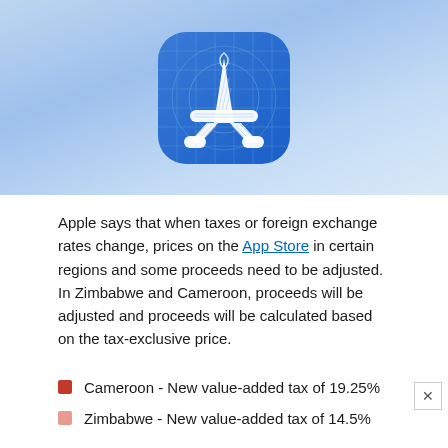[Figure (logo): Apple App Store icon — white 'A' made of crossing tools on a blue gradient rounded-square background, shown on a light blue gradient hero banner]
Apple says that when taxes or foreign exchange rates change, prices on the App Store in certain regions and some proceeds need to be adjusted. In Zimbabwe and Cameroon, proceeds will be adjusted and proceeds will be calculated based on the tax-exclusive price.
Cameroon - New value-added tax of 19.25%
Zimbabwe - New value-added tax of 14.5%
In Germany and South Korea, prices of apps and in-app